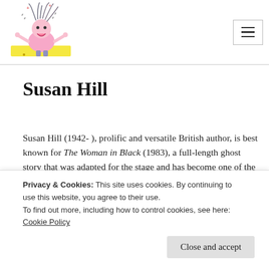[Figure (illustration): Cartoon character with wild electrified hair, arms raised, standing on a yellow platform — website logo]
Susan Hill
Susan Hill (1942- ), prolific and versatile British author, is best known for The Woman in Black (1983), a full-length ghost story that was adapted for the stage and has become one of the longest-running plays in British theatrical history. Hill rose to prominence as a serious fiction writer when she won
Privacy & Cookies: This site uses cookies. By continuing to use this website, you agree to their use.
To find out more, including how to control cookies, see here: Cookie Policy